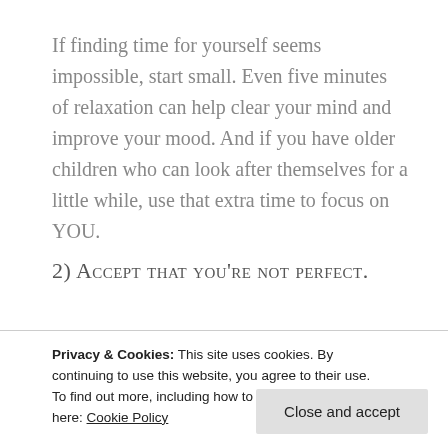If finding time for yourself seems impossible, start small. Even five minutes of relaxation can help clear your mind and improve your mood. And if you have older children who can look after themselves for a little while, use that extra time to focus on YOU.
2) Accept that you're not perfect.
Privacy & Cookies: This site uses cookies. By continuing to use this website, you agree to their use.
To find out more, including how to control cookies, see here: Cookie Policy
perfect is essential in taking care of your mental